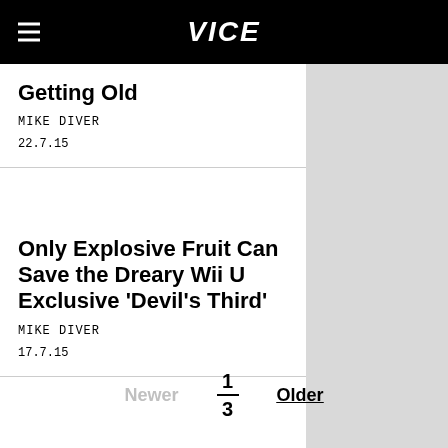VICE
Getting Old
MIKE DIVER
22.7.15
Only Explosive Fruit Can Save the Dreary Wii U Exclusive 'Devil's Third'
MIKE DIVER
17.7.15
Newer 1 / 3 Older